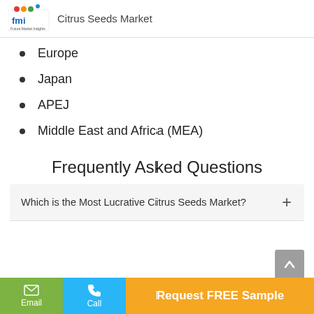Citrus Seeds Market
Europe
Japan
APEJ
Middle East and Africa (MEA)
Frequently Asked Questions
Which is the Most Lucrative Citrus Seeds Market?
Email | Call | Request FREE Sample